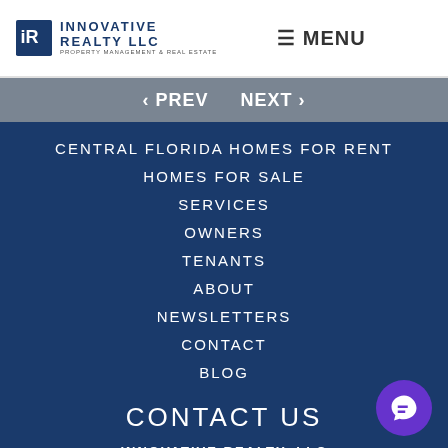INNOVATIVE REALTY LLC PROPERTY MANAGEMENT & REAL ESTATE
≡ MENU
‹ PREV   NEXT ›
CENTRAL FLORIDA HOMES FOR RENT
HOMES FOR SALE
SERVICES
OWNERS
TENANTS
ABOUT
NEWSLETTERS
CONTACT
BLOG
CONTACT US
INNOVATIVE REALTY, LLC
151 LOOKOUT PLACE
MAITLAND, FL 32751